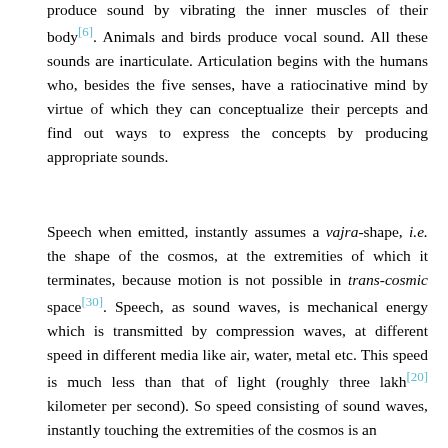produce sound by vibrating the inner muscles of their body[6]. Animals and birds produce vocal sound. All these sounds are inarticulate. Articulation begins with the humans who, besides the five senses, have a ratiocinative mind by virtue of which they can conceptualize their percepts and find out ways to express the concepts by producing appropriate sounds.
Speech when emitted, instantly assumes a vajra-shape, i.e. the shape of the cosmos, at the extremities of which it terminates, because motion is not possible in trans-cosmic space[30]. Speech, as sound waves, is mechanical energy which is transmitted by compression waves, at different speed in different media like air, water, metal etc. This speed is much less than that of light (roughly three lakh[20] kilometer per second). So speed consisting of sound waves, instantly touching the extremities of the cosmos is an